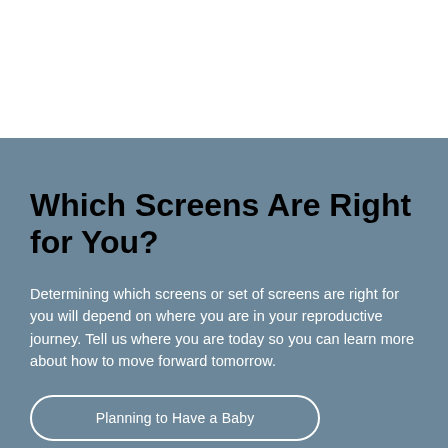Which Screens Are Right for You?
Determining which screens or set of screens are right for you will depend on where you are in your reproductive journey. Tell us where you are today so you can learn more about how to move forward tomorrow.
Planning to Have a Baby
Already Expecting